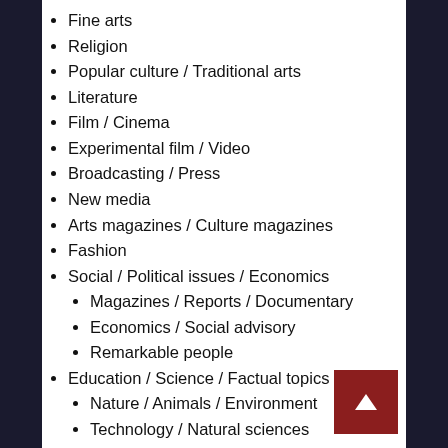Fine arts
Religion
Popular culture / Traditional arts
Literature
Film / Cinema
Experimental film / Video
Broadcasting / Press
New media
Arts magazines / Culture magazines
Fashion
Social / Political issues / Economics
Magazines / Reports / Documentary
Economics / Social advisory
Remarkable people
Education / Science / Factual topics
Nature / Animals / Environment
Technology / Natural sciences
Medicine / Physiology / Psychology